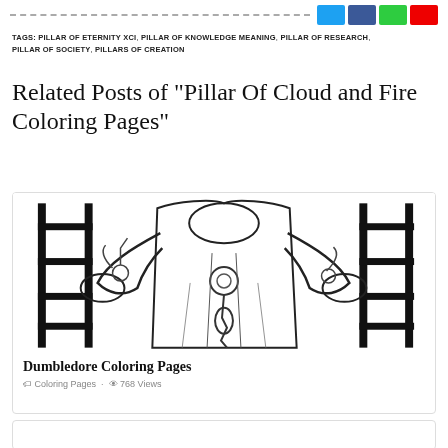[Figure (other): Social share bar with dotted line and colored social media buttons (Twitter blue, Facebook dark blue, green, red)]
TAGS: PILLAR OF ETERNITY XCI, PILLAR OF KNOWLEDGE MEANING, PILLAR OF RESEARCH, PILLAR OF SOCIETY, PILLARS OF CREATION
Related Posts of "Pillar Of Cloud and Fire Coloring Pages"
[Figure (illustration): Black and white coloring page illustration of Dumbledore character with robes and accessories]
Dumbledore Coloring Pages
Coloring Pages · 768 Views